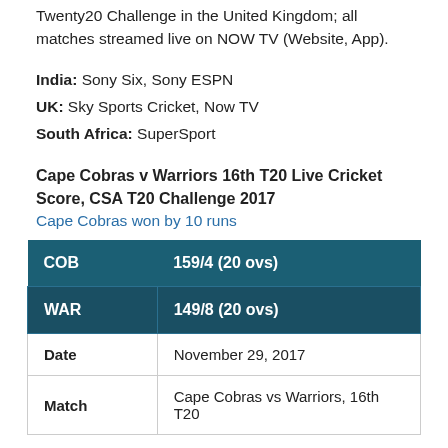Twenty20 Challenge in the United Kingdom; all matches streamed live on NOW TV (Website, App).
India: Sony Six, Sony ESPN
UK: Sky Sports Cricket, Now TV
South Africa: SuperSport
Cape Cobras v Warriors 16th T20 Live Cricket Score, CSA T20 Challenge 2017
Cape Cobras won by 10 runs
|  |  |
| --- | --- |
| COB | 159/4  (20  ovs) |
| WAR | 149/8  (20  ovs) |
| Date | November 29, 2017 |
| Match | Cape Cobras vs Warriors, 16th T20 |